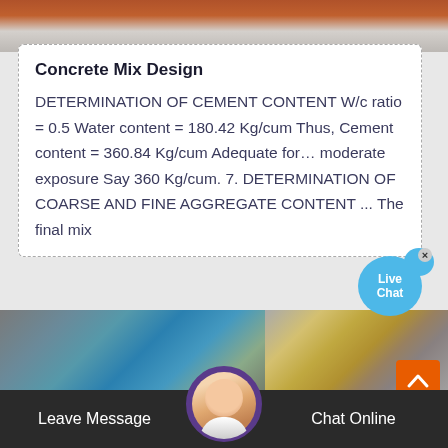[Figure (photo): Top strip showing industrial/construction equipment in reddish-brown and grey tones]
Concrete Mix Design
DETERMINATION OF CEMENT CONTENT W/c ratio = 0.5 Water content = 180.42 Kg/cum Thus, Cement content = 360.84 Kg/cum Adequate for… moderate exposure Say 360 Kg/cum. 7. DETERMINATION OF COARSE AND FINE AGGREGATE CONTENT ... The final mix
[Figure (infographic): Live Chat bubble in blue]
[Figure (photo): Bottom image showing two construction/aggregate processing facilities side by side. Left: blue mobile crusher equipment. Right: yellow conveyor/aggregate plant. Orange scroll-up button bottom right.]
Leave Message   Chat Online